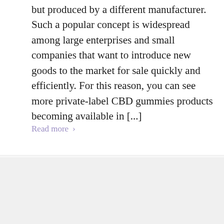but produced by a different manufacturer. Such a popular concept is widespread among large enterprises and small companies that want to introduce new goods to the market for sale quickly and efficiently. For this reason, you can see more private-label CBD gummies products becoming available in [...]
Read more >